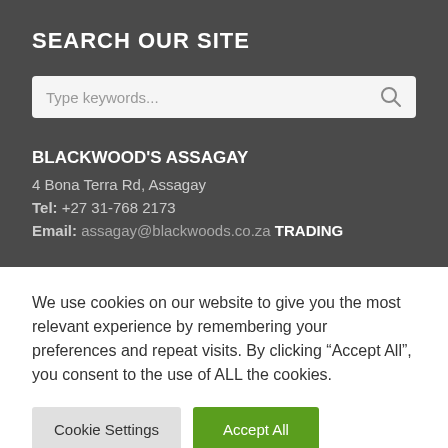SEARCH OUR SITE
Type keywords...
BLACKWOOD'S ASSAGAY
4 Bona Terra Rd, Assagay
Tel: +27 31-768 2173
Email: assagay@blackwoods.co.za TRADING
We use cookies on our website to give you the most relevant experience by remembering your preferences and repeat visits. By clicking “Accept All”, you consent to the use of ALL the cookies.
Cookie Settings | Accept All